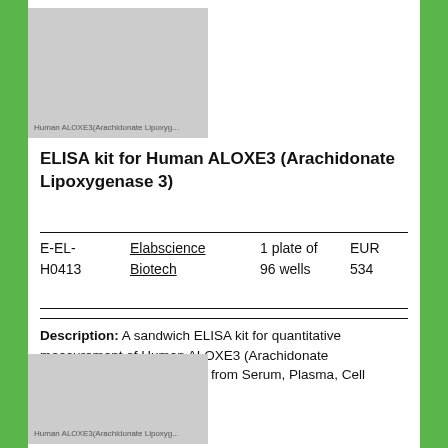[Figure (photo): Product image placeholder for Human ALOXE3 (Arachidonate Lipoxygenase) — top image, grey rectangle with label text]
ELISA kit for Human ALOXE3 (Arachidonate Lipoxygenase 3)
| ID | Supplier | Quantity | Price |
| --- | --- | --- | --- |
| E-EL-H0413 | Elabscience Biotech | 1 plate of 96 wells | EUR 534 |
Description: A sandwich ELISA kit for quantitative measurement of Human ALOXE3 (Arachidonate Lipoxygenase 3) in samples from Serum, Plasma, Cell supernatant
[Figure (photo): Product image placeholder for Human ALOXE3 (Arachidonate Lipoxygenase) — bottom image, grey rectangle with label text]